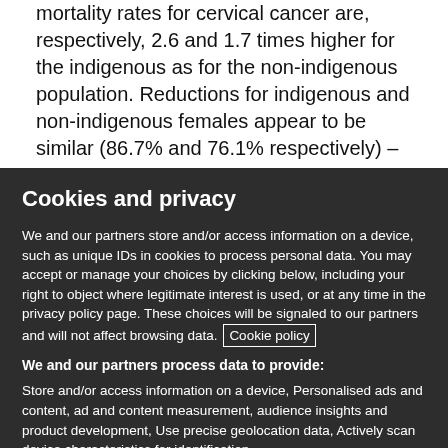mortality rates for cervical cancer are, respectively, 2.6 and 1.7 times higher for the indigenous as for the non-indigenous population. Reductions for indigenous and non-indigenous females appear to be similar (86.7% and 76.1% respectively) –
Cookies and privacy
We and our partners store and/or access information on a device, such as unique IDs in cookies to process personal data. You may accept or manage your choices by clicking below, including your right to object where legitimate interest is used, or at any time in the privacy policy page. These choices will be signaled to our partners and will not affect browsing data. Cookie policy
We and our partners process data to provide:
Store and/or access information on a device, Personalised ads and content, ad and content measurement, audience insights and product development, Use precise geolocation data, Actively scan device characteristics for identification
List of Partners (vendors)
I Accept